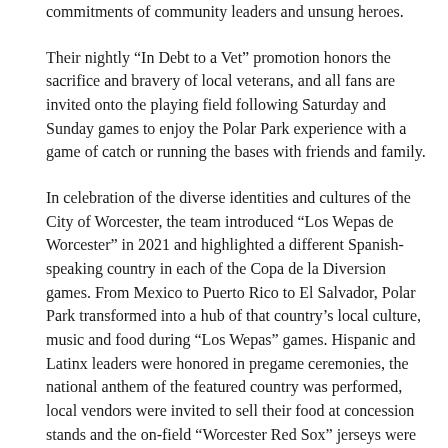commitments of community leaders and unsung heroes.
Their nightly “In Debt to a Vet” promotion honors the sacrifice and bravery of local veterans, and all fans are invited onto the playing field following Saturday and Sunday games to enjoy the Polar Park experience with a game of catch or running the bases with friends and family.
In celebration of the diverse identities and cultures of the City of Worcester, the team introduced “Los Wepas de Worcester” in 2021 and highlighted a different Spanish-speaking country in each of the Copa de la Diversion games. From Mexico to Puerto Rico to El Salvador, Polar Park transformed into a hub of that country’s local culture, music and food during “Los Wepas” games. Hispanic and Latinx leaders were honored in pregame ceremonies, the national anthem of the featured country was performed, local vendors were invited to sell their food at concession stands and the on-field “Worcester Red Sox” jerseys were replaced by “Los Wepas de Worcester” jerseys, with “Wepas” being a Spanish expression of excitement.
In an effort to strengthen the organization’s spirit of empathy and inclusion and create a clearer understanding of how they can make baseball more inclusive and celebratory of differences, the club played host to several events throughout the season. In July, the WooSox hosted “Autism Acceptance Night,” where the volume of public address announcements and music was turned down across the ballpark to reduce stimulation and highlighted Polar